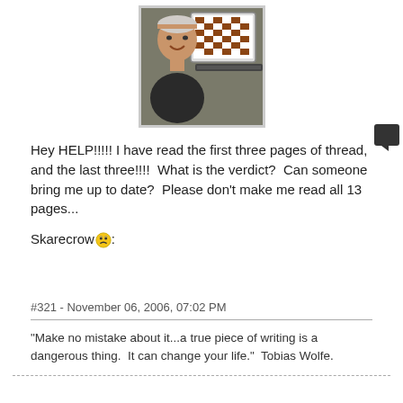[Figure (photo): Avatar photo of a middle-aged man with grey/white hair sitting in front of a laptop computer displaying a chess board, smiling at the camera]
Hey HELP!!!!! I have read the first three pages of thread, and the last three!!!!  What is the verdict?  Can someone bring me up to date?  Please don't make me read all 13 pages...
Skarecrow 😟:
#321 - November 06, 2006, 07:02 PM
"Make no mistake about it...a true piece of writing is a dangerous thing.  It can change your life."  Tobias Wolfe.